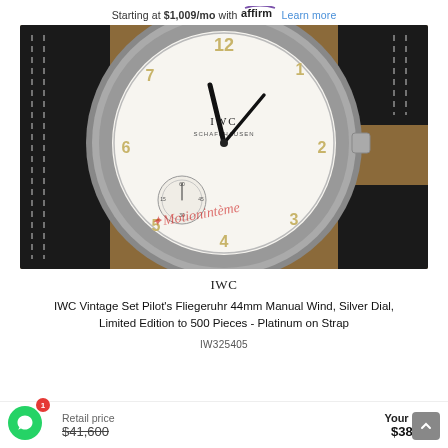Starting at $1,009/mo with affirm. Learn more
[Figure (photo): IWC vintage pilot's watch with white dial showing Arabic numerals, sub-seconds dial, on black leather strap with white stitching. Red italic watermark text overlaid. Close-up product photo on tan/brown background.]
IWC
IWC Vintage Set Pilot's Fliegeruhr 44mm Manual Wind, Silver Dial, Limited Edition to 500 Pieces - Platinum on Strap
IW325405
Retail price $41,600
Your price $38,995